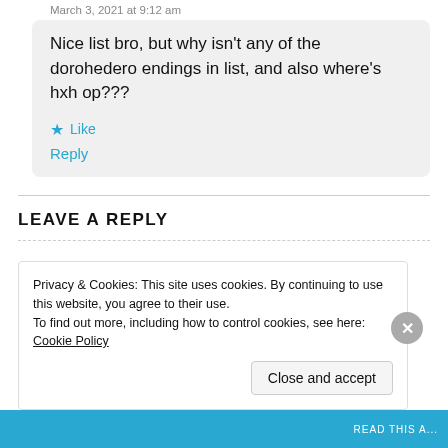March 3, 2021 at 9:12 am
Nice list bro, but why isn't any of the dorohedero endings in list, and also where's hxh op???
Like
Reply
LEAVE A REPLY
Privacy & Cookies: This site uses cookies. By continuing to use this website, you agree to their use.
To find out more, including how to control cookies, see here: Cookie Policy
Close and accept